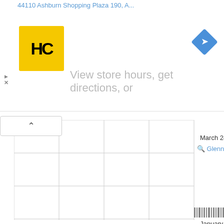[Figure (screenshot): Advertisement banner with HC logo, navigation icon, address text '44110 Ashburn Shopping Plaza 190, A...' and 'View store hours, get directions, or...' text, with play/close buttons]
[Figure (screenshot): Wikidata Query Service visualization with grid/chart area, showing dates 'March 24, 1...' with 'Glenn De...' link and 'January 1, 1...' with 'Trevor James C...' link, and Wikidata Query Service label with barcode icon]
astronomy, chromosphere, Donald Menzel, Mars, solar system, ufology, UFOs, USA
PREVIOUS POST
John Leslie's Research in Heat and Capillary Action